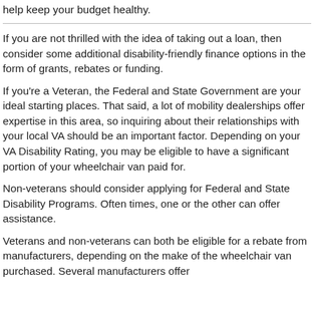help keep your budget healthy.
If you are not thrilled with the idea of taking out a loan, then consider some additional disability-friendly finance options in the form of grants, rebates or funding.
If you're a Veteran, the Federal and State Government are your ideal starting places. That said, a lot of mobility dealerships offer expertise in this area, so inquiring about their relationships with your local VA should be an important factor. Depending on your VA Disability Rating, you may be eligible to have a significant portion of your wheelchair van paid for.
Non-veterans should consider applying for Federal and State Disability Programs. Often times, one or the other can offer assistance.
Veterans and non-veterans can both be eligible for a rebate from manufacturers, depending on the make of the wheelchair van purchased. Several manufacturers offer